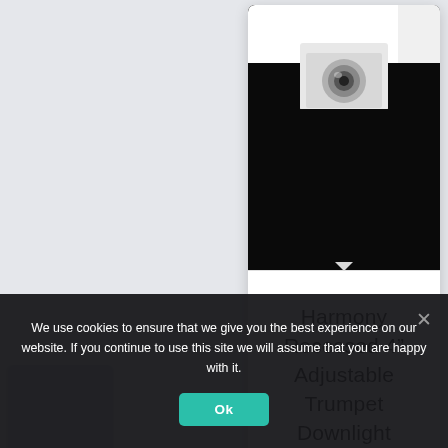[Figure (photo): Product card showing a white recessed 4" adjustable trumpet downlight fixture against a black background, with product title below]
Harmony Recessed 4” Adjustable Trumpet Downlight
[Figure (photo): Partial product card bottom-left showing a white recessed downlight against black background]
[Figure (photo): Partial product card bottom-right showing a white recessed downlight against black background]
We use cookies to ensure that we give you the best experience on our website. If you continue to use this site we will assume that you are happy with it.